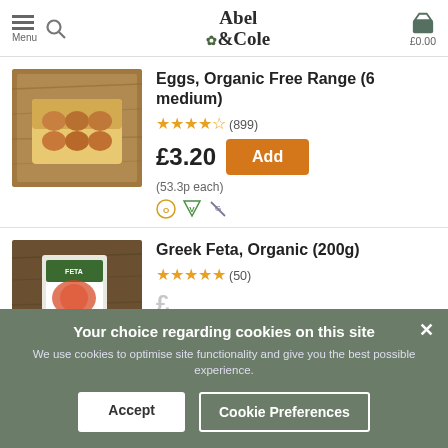Abel & Cole — Menu | Search | Basket £0.00
[Figure (photo): Open egg carton with brown eggs on a wooden surface]
Eggs, Organic Free Range (6 medium)
★★★★★ (899)
£3.20  Add
(53.3p each)
[Figure (photo): Greek Feta organic cheese pack on wooden surface]
Greek Feta, Organic (200g)
★★★★★ (50)
Your choice regarding cookies on this site
We use cookies to optimise site functionality and give you the best possible experience.
Accept  Cookie Preferences